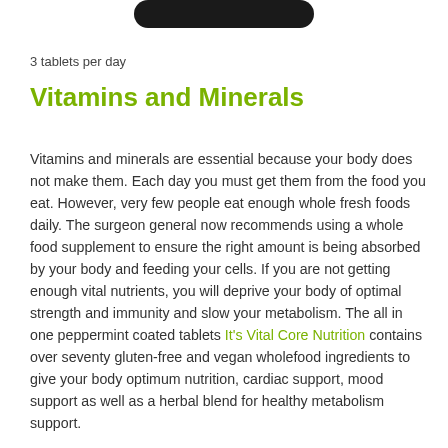[Figure (other): Partial view of a dark product container/bottle at the top of the page]
3 tablets per day
Vitamins and Minerals
Vitamins and minerals are essential because your body does not make them. Each day you must get them from the food you eat. However, very few people eat enough whole fresh foods daily. The surgeon general now recommends using a whole food supplement to ensure the right amount is being absorbed by your body and feeding your cells. If you are not getting enough vital nutrients, you will deprive your body of optimal strength and immunity and slow your metabolism. The all in one peppermint coated tablets It's Vital Core Nutrition contains over seventy gluten-free and vegan wholefood ingredients to give your body optimum nutrition, cardiac support, mood support as well as a herbal blend for healthy metabolism support.